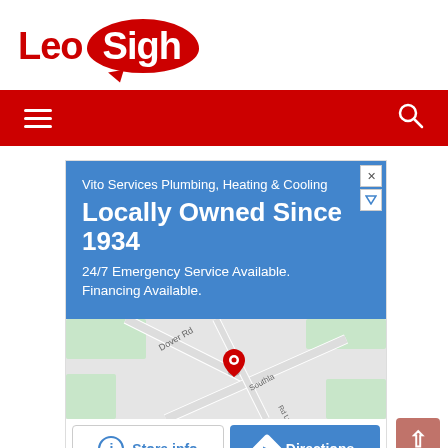[Figure (logo): LeoSigh logo with red text 'Leo' and white text 'Sigh' inside a red speech bubble]
[Figure (screenshot): Red navigation bar with hamburger menu icon on left and search icon on right]
[Figure (screenshot): Advertisement for Vito Services Plumbing, Heating & Cooling showing blue box with 'Locally Owned Since 1934', '24/7 Emergency Service Available. Financing Available.', a Google Maps thumbnail, and Store info / Directions buttons]